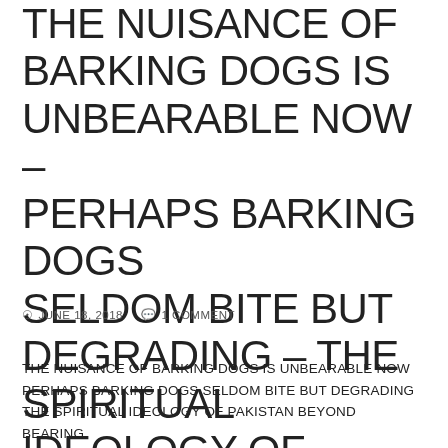THE NUISANCE OF BARKING DOGS IS UNBEARABLE NOW – PERHAPS BARKING DOGS SELDOM BITE BUT DEGRADING – THE SPIRITUAL IDEOLOGY OF PAKISTAN BEYOND BEARING
JUNE 18, 2018   1 COMMENT
THE NUISANCE OF BARKING DOGS IS UNBEARABLE NOW PERHAPS BARKING DOGS SELDOM BITE BUT DEGRADING THE SPIRITUAL IDEOLOGY OF PAKISTAN BEYOND BEARING